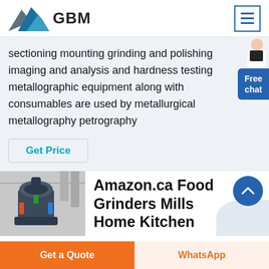[Figure (logo): GBM logo with blue/grey mountain graphic and bold GBM text]
sectioning mounting grinding and polishing imaging and analysis and hardness testing metallographic equipment along with consumables are used by metallurgical metallography petrography
Get Price
[Figure (photo): Industrial grinding mill machine in a factory setting]
Amazon.ca Food Grinders Mills Home Kitchen
Get a Quote
WhatsApp